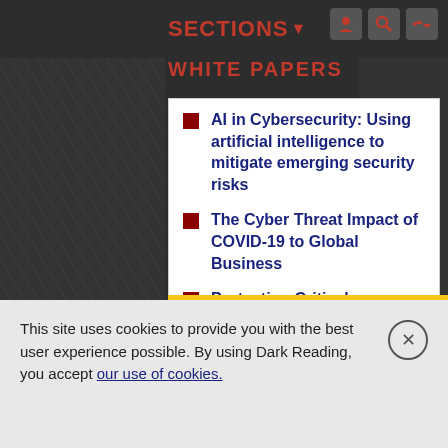SECTIONS
WHITE PAPERS
AI in Cybersecurity: Using artificial intelligence to mitigate emerging security risks
The Cyber Threat Impact of COVID-19 to Global Business
Protecting Critical Infrastructure: The 2021 Energy, Utilities, and Industrials Cyber Threat Landscape Report
Building Immunity: The 2021 Healthcare and Pharmaceutical Industry Cyber Threat Landscape Report
2021 Gartner Market Guide for Managed Detection and Response Report
MORE WHITE PAPERS
This site uses cookies to provide you with the best user experience possible. By using Dark Reading, you accept our use of cookies.